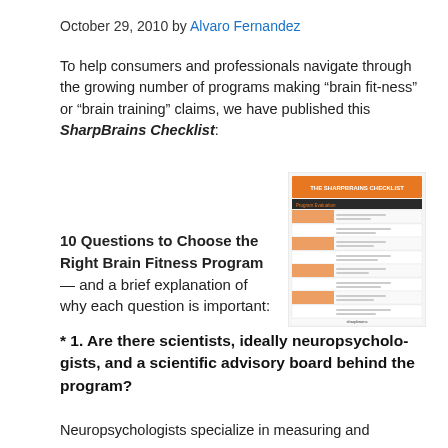October 29, 2010 by Alvaro Fernandez
To help consumers and professionals navigate through the growing number of programs making “brain fitness” or “brain training” claims, we have published this SharpBrains Checklist:
[Figure (screenshot): Thumbnail image of The SharpBrains Checklist document, showing an orange header and rows of orange and white content in a table format.]
10 Questions to Choose the Right Brain Fitness Program — and a brief explanation of why each question is important:
* 1. Are there scientists, ideally neuropsychologists, and a scientific advisory board behind the program?
Neuropsychologists specialize in measuring and